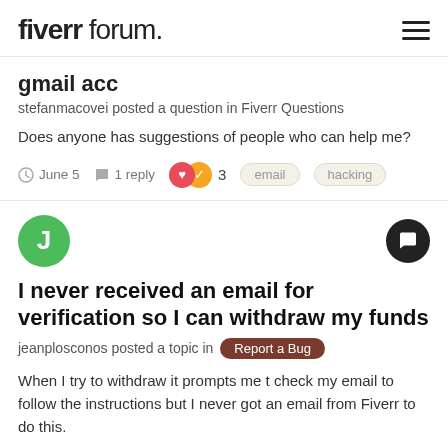fiverr forum.
gmail acc
stefanmacovei posted a question in Fiverr Questions
Does anyone has suggestions of people who can help me?
June 5  •  1 reply  •  3  •  email  •  hacking
I never received an email for verification so I can withdraw my funds
jeanplosconos posted a topic in Report a Bug
When I try to withdraw it prompts me t check my email to follow the instructions but I never got an email from Fiverr to do this.